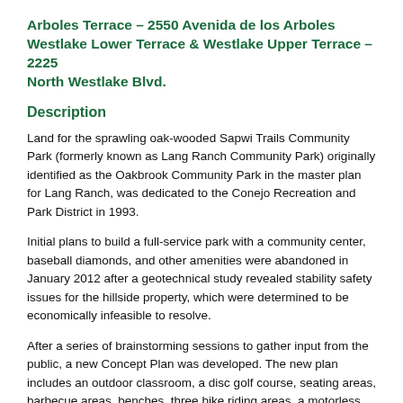Arboles Terrace – 2550 Avenida de los Arboles Westlake Lower Terrace & Westlake Upper Terrace – 2225 North Westlake Blvd.
Description
Land for the sprawling oak-wooded Sapwi Trails Community Park (formerly known as Lang Ranch Community Park) originally identified as the Oakbrook Community Park in the master plan for Lang Ranch, was dedicated to the Conejo Recreation and Park District in 1993.
Initial plans to build a full-service park with a community center, baseball diamonds, and other amenities were abandoned in January 2012 after a geotechnical study revealed stability safety issues for the hillside property, which were determined to be economically infeasible to resolve.
After a series of brainstorming sessions to gather input from the public, a new Concept Plan was developed. The new plan includes an outdoor classroom, a disc golf course, seating areas, barbecue areas, benches, three bike riding areas, a motorless sailplane area, and multiple trails for biking, hiking,